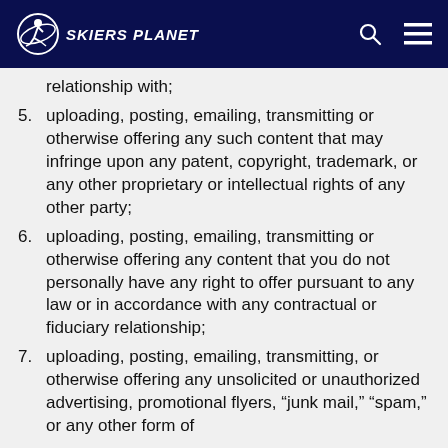SKIERS PLANET
relationship with;
5. uploading, posting, emailing, transmitting or otherwise offering any such content that may infringe upon any patent, copyright, trademark, or any other proprietary or intellectual rights of any other party;
6. uploading, posting, emailing, transmitting or otherwise offering any content that you do not personally have any right to offer pursuant to any law or in accordance with any contractual or fiduciary relationship;
7. uploading, posting, emailing, transmitting, or otherwise offering any unsolicited or unauthorized advertising, promotional flyers, “junk mail,” “spam,” or any other form of solicitation content images or any that